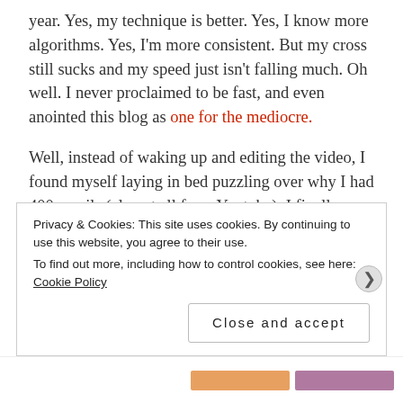year. Yes, my technique is better. Yes, I know more algorithms. Yes, I'm more consistent. But my cross still sucks and my speed just isn't falling much. Oh well. I never proclaimed to be fast, and even anointed this blog as one for the mediocre.
Well, instead of waking up and editing the video, I found myself laying in bed puzzling over why I had 400 emails (almost all from Youtube). I finally realized that CrazyBadCuber had done one of his Crazy Bad Promo videos featuring my youtube channel! Sweet!
Privacy & Cookies: This site uses cookies. By continuing to use this website, you agree to their use.
To find out more, including how to control cookies, see here: Cookie Policy
Close and accept